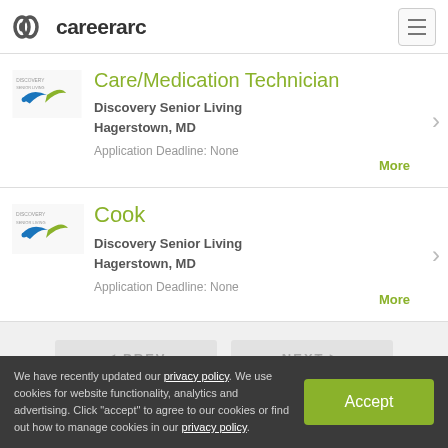careerarc
Care/Medication Technician
Discovery Senior Living
Hagerstown, MD
Application Deadline: None
Cook
Discovery Senior Living
Hagerstown, MD
Application Deadline: None
◄ PREV    NEXT ►
We have recently updated our privacy policy. We use cookies for website functionality, analytics and advertising. Click "accept" to agree to our cookies or find out how to manage cookies in our privacy policy.